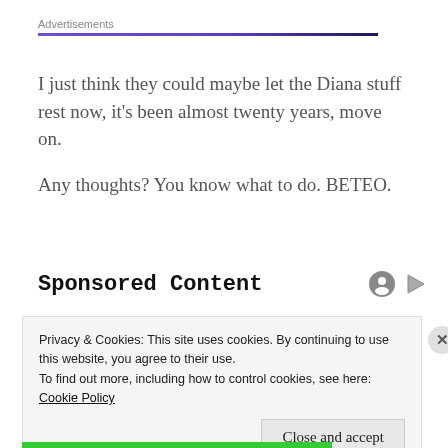Advertisements
I just think they could maybe let the Diana stuff rest now, it's been almost twenty years, move on.
Any thoughts? You know what to do. BETEO.
Sponsored Content
Privacy & Cookies: This site uses cookies. By continuing to use this website, you agree to their use.
To find out more, including how to control cookies, see here: Cookie Policy
Close and accept